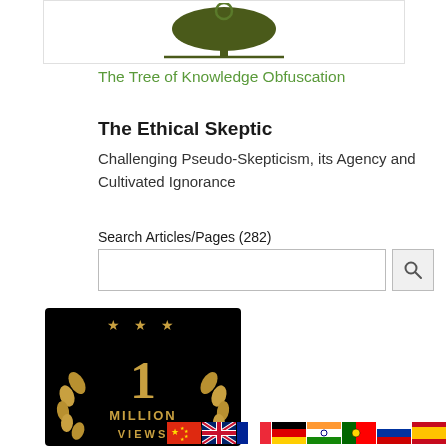[Figure (illustration): Tree of Knowledge Obfuscation logo — dark olive tree silhouette with circle above on white background]
The Tree of Knowledge Obfuscation
The Ethical Skeptic
Challenging Pseudo-Skepticism, its Agency and Cultivated Ignorance
Search Articles/Pages (282)
[Figure (illustration): Black circular badge with gold laurel wreath, three gold stars at top, and text '1 MILLION VIEWS' in gold]
[Figure (infographic): Row of flag icons: Chinese, UK/English, French, German, Indian, Portuguese, Russian, Spanish]